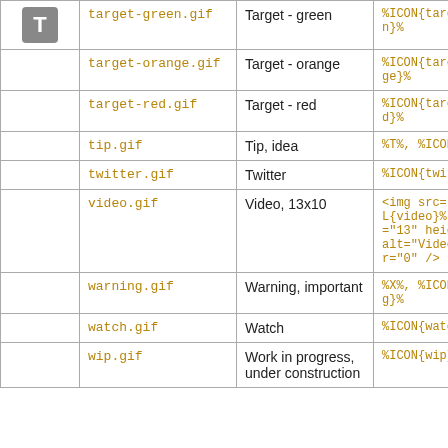| Icon | Filename | Description | Syntax |
| --- | --- | --- | --- |
| [T icon] | target-green.gif | Target - green | %ICON{target-green}% |
|  | target-orange.gif | Target - orange | %ICON{target-orange}% |
|  | target-red.gif | Target - red | %ICON{target-red}% |
|  | tip.gif | Tip, idea | %T%, %ICON{tip}% |
|  | twitter.gif | Twitter | %ICON{twitter}% |
|  | video.gif | Video, 13x10 | <img src="%ICONURL{video}%" width="13" height="10" alt="Video" border="0" /> |
|  | warning.gif | Warning, important | %X%, %ICON{warning}% |
|  | watch.gif | Watch | %ICON{watch}% |
|  | wip.gif | Work in progress, under construction | %ICON{wip}% |